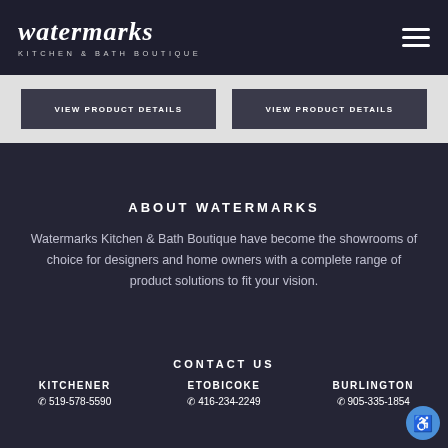[Figure (logo): Watermarks Kitchen & Bath Boutique logo in script font with subtitle]
VIEW PRODUCT DETAILS
VIEW PRODUCT DETAILS
ABOUT WATERMARKS
Watermarks Kitchen & Bath Boutique have become the showrooms of choice for designers and home owners with a complete range of product solutions to fit your vision.
CONTACT US
KITCHENER  ☎ 519-578-5590
ETOBICOKE  ☎ 416-234-2249
BURLINGTON  ☎ 905-335-1854